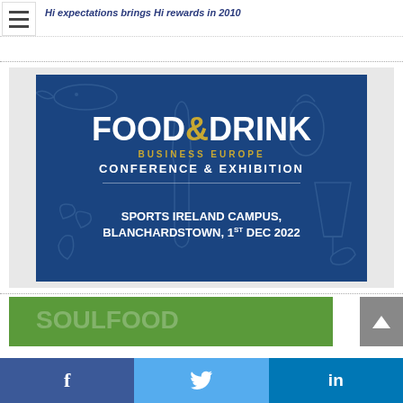Hi expectations brings Hi rewards in 2010
[Figure (illustration): Food & Drink Business Europe Conference & Exhibition advertisement banner. Blue background with decorative food and drink illustrations. Text reads: FOOD&DRINK BUSINESS EUROPE CONFERENCE & EXHIBITION. SPORTS IRELAND CAMPUS, BLANCHARDSTOWN, 1ST DEC 2022]
[Figure (photo): Partial green-tinted image visible at bottom, cropped]
Social sharing bar with Facebook, Twitter, and LinkedIn icons